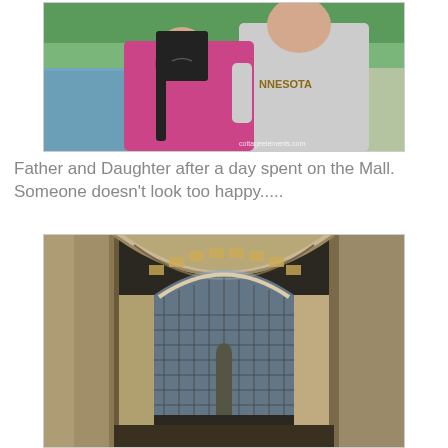[Figure (photo): A father and daughter posing together outdoors near a reflecting pool or lake. The daughter (Asian girl with glasses, long black hair, wearing a pink patterned jacket) looks unhappy. The father wears a gray Minnesota hoodie. Other people and trees visible in background. Watermark: cottageelements.com]
Father and Daughter after a day spent on the Mall. Someone doesn't look too happy.....
[Figure (photo): Interior of a grand building (likely Union Station or similar neoclassical building on the National Mall) showing large arched windows with decorative ironwork, ornate columns and walls, a statue or figure visible in the distance, and tropical plants. Taken from a low angle looking up.]